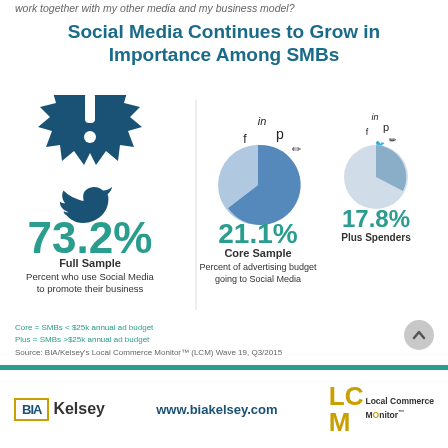work together with my other media and my business model?
Social Media Continues to Grow in Importance Among SMBs
[Figure (infographic): Infographic showing social media statistics for SMBs: 73.2% Full Sample use social media to promote their business (illustrated with Twitter bird and exclamation burst), 21.1% Core Sample and 17.8% Plus Spenders of advertising budget going to Social Media (illustrated with pie charts and social media icons)]
Core = SMBs < $25k annual ad budget
Plus = SMBs >$25k annual ad budget
Source: BIA/Kelsey's Local Commerce Monitor™ (LCM) Wave 19, Q3/2015
BIA Kelsey    www.biakelsey.com    LC Local Commerce Monitor™